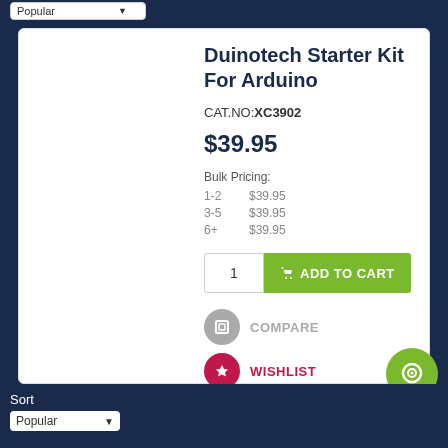Duinotech Starter Kit For Arduino
CAT.NO: XC3902
$39.95
Bulk Pricing:
| Qty | Price |
| --- | --- |
| 1-2 | $39.95 |
| 3-5 | $39.95 |
| 6+ | $39.95 |
ADD TO CART
COMPARE
WISHLIST
CHECK STORE
Sort
Popular